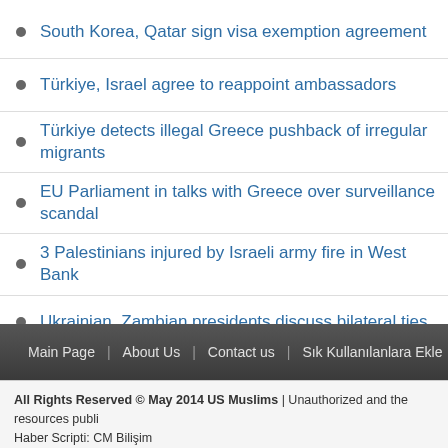South Korea, Qatar sign visa exemption agreement
Türkiye, Israel agree to reappoint ambassadors
Türkiye detects illegal Greece pushback of irregular migrants
EU Parliament in talks with Greece over surveillance scandal
3 Palestinians injured by Israeli army fire in West Bank
Ukrainian, Zambian presidents discuss bilateral ties
Latvia appreciates Türkiye's role in Ukraine grain deal
Türkiye holds panel in Paris to push for UN Security Council reform
Main Page | About Us | Contact us | Sık Kullanılanlara Ekle | RSS
All Rights Reserved © May 2014 US Muslims | Unauthorized and the resources publi… Haber Scripti: CM Bilişim